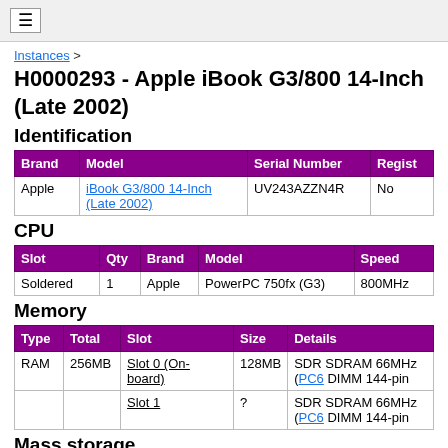≡
Instances >
H0000293 - Apple iBook G3/800 14-Inch (Late 2002)
Identification
| Brand | Model | Serial Number | Regist... |
| --- | --- | --- | --- |
| Apple | iBook G3/800 14-Inch (Late 2002) | UV243AZZN4R | No |
CPU
| Slot | Qty | Brand | Model | Speed |
| --- | --- | --- | --- | --- |
| Soldered | 1 | Apple | PowerPC 750fx (G3) | 800MHz |
Memory
| Type | Total | Slot | Size | Details |
| --- | --- | --- | --- | --- |
| RAM | 256MB | Slot 0 (On-board) | 128MB | SDR SDRAM 66MHz (PC6 DIMM 144-pin |
|  |  | Slot 1 | ? | SDR SDRAM 66MHz (PC6 DIMM 144-pin |
Mass storage